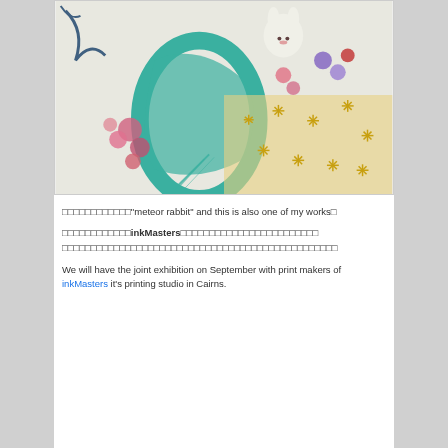[Figure (illustration): Colorful illustration of a rabbit sitting on a crescent moon with flowers and stars, titled 'meteor rabbit']
□□□□□□□□□□□□"meteor rabbit" and this is also one of my works□
□□□□□□□□□□□□inkMasters□□□□□□□□□□□□□□□□□□□□□□□□□□□□□□□□□□□□□□□□□□□□□□□□□□□□□□□□□□□□□□□□□□□□□□□□□□
We will have the joint exhibition on September with print makers of inkMasters it's printing studio in Cairns.